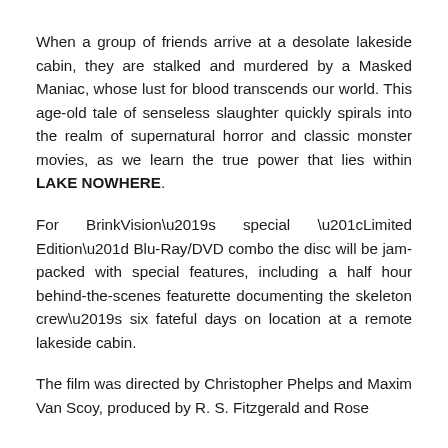When a group of friends arrive at a desolate lakeside cabin, they are stalked and murdered by a Masked Maniac, whose lust for blood transcends our world. This age-old tale of senseless slaughter quickly spirals into the realm of supernatural horror and classic monster movies, as we learn the true power that lies within LAKE NOWHERE.
For BrinkVision’s special “Limited Edition” Blu-Ray/DVD combo the disc will be jam-packed with special features, including a half hour behind-the-scenes featurette documenting the skeleton crew’s six fateful days on location at a remote lakeside cabin.
The film was directed by Christopher Phelps and Maxim Van Scoy, produced by R. S. Fitzgerald and Rose